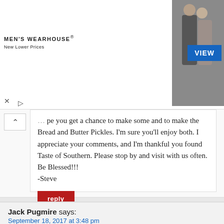[Figure (photo): Men's Wearhouse advertisement banner showing a couple in formal wear and a man in a suit, with VIEW button]
...you get a chance to make some and to make the Bread and Butter Pickles. I'm sure you'll enjoy both. I appreciate your comments, and I'm thankful you found Taste of Southern. Please stop by and visit with us often. Be Blessed!!! -Steve
reply
Jack Pugmire says:
September 18, 2017 at 3:48 pm
Hello Steve –
Just finished another great read and recipe....so much so, that I sent it on to my sister-in-law and my middle son. FYI, I took the liberty of sending a few words from the email I sent to them:

"Well, this morning I received my weekly newsletter from Steve Gordon at "Taste of Southern", and lo and behold chow chow was...